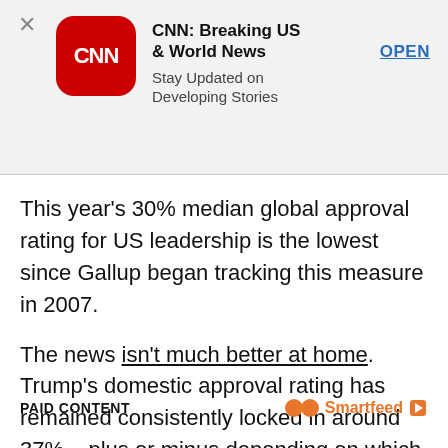[Figure (screenshot): CNN app advertisement banner with CNN red rounded square logo, title 'CNN: Breaking US & World News', subtitle 'Stay Updated on Developing Stories', and an OPEN button link. An X close button is on the left.]
This year's 30% median global approval rating for US leadership is the lowest since Gallup began tracking this measure in 2007.
The news isn't much better at home. Trump's domestic approval rating has remained consistently locked in around 37% – plus or minus depending on which way the wind is blowing – for the past nine months, according to weekly numbers from Gallup.
PAID CONTENT    Smartfeed